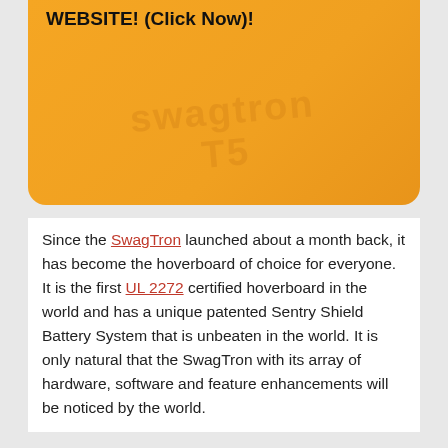WEBSITE! (Click Now)!
[Figure (other): Orange gradient banner/advertisement box with watermark text and website title 'WEBSITE! (Click Now)!']
Since the SwagTron launched about a month back, it has become the hoverboard of choice for everyone. It is the first UL 2272 certified hoverboard in the world and has a unique patented Sentry Shield Battery System that is unbeaten in the world. It is only natural that the SwagTron with its array of hardware, software and feature enhancements will be noticed by the world.